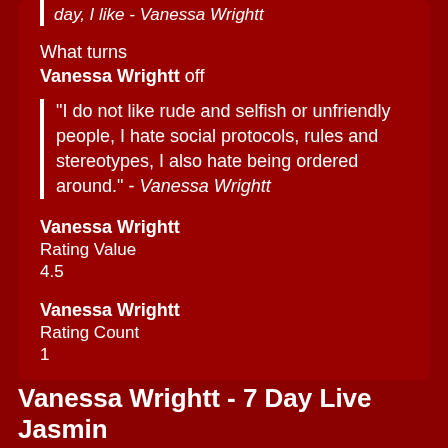day, I like - Vanessa Wrightt
What turns Vanessa Wrightt off
"I do not like rude and selfish or unfriendly people, I hate social protocols, rules and stereotypes, I also hate being ordered around." - Vanessa Wrightt
Vanessa Wrightt
Rating Value
4.5
Vanessa Wrightt
Rating Count
1
Vanessa Wrightt - 7 Day Live Jasmin